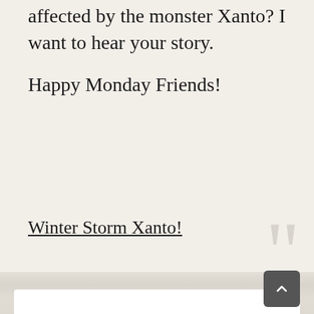affected by the monster Xanto? I want to hear your story.
Happy Monday Friends!
Winter Storm Xanto!